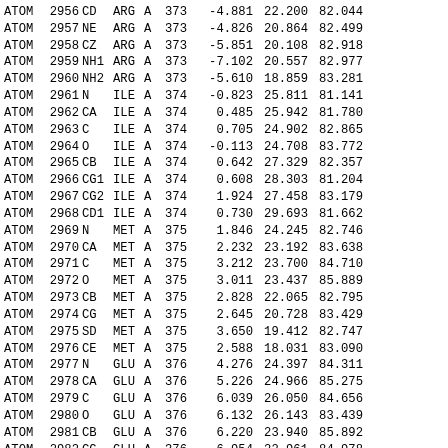| Type | Num | Name | Res | Chain | ResNum |  | X | Y | Z |
| --- | --- | --- | --- | --- | --- | --- | --- | --- | --- |
| ATOM | 2956 | CD | ARG | A | 373 |  | -4.881 | 22.200 | 82.044 |
| ATOM | 2957 | NE | ARG | A | 373 |  | -4.826 | 20.864 | 82.499 |
| ATOM | 2958 | CZ | ARG | A | 373 |  | -5.851 | 20.108 | 82.918 |
| ATOM | 2959 | NH1 | ARG | A | 373 |  | -7.102 | 20.557 | 82.977 |
| ATOM | 2960 | NH2 | ARG | A | 373 |  | -5.610 | 18.859 | 83.281 |
| ATOM | 2961 | N | ILE | A | 374 |  | -0.823 | 25.811 | 81.141 |
| ATOM | 2962 | CA | ILE | A | 374 |  | 0.485 | 25.942 | 81.780 |
| ATOM | 2963 | C | ILE | A | 374 |  | 0.705 | 24.902 | 82.865 |
| ATOM | 2964 | O | ILE | A | 374 |  | -0.113 | 24.708 | 83.772 |
| ATOM | 2965 | CB | ILE | A | 374 |  | 0.642 | 27.329 | 82.357 |
| ATOM | 2966 | CG1 | ILE | A | 374 |  | 0.608 | 28.303 | 81.204 |
| ATOM | 2967 | CG2 | ILE | A | 374 |  | 1.924 | 27.458 | 83.179 |
| ATOM | 2968 | CD1 | ILE | A | 374 |  | 0.730 | 29.693 | 81.662 |
| ATOM | 2969 | N | MET | A | 375 |  | 1.846 | 24.245 | 82.746 |
| ATOM | 2970 | CA | MET | A | 375 |  | 2.232 | 23.192 | 83.638 |
| ATOM | 2971 | C | MET | A | 375 |  | 3.212 | 23.700 | 84.710 |
| ATOM | 2972 | O | MET | A | 375 |  | 3.011 | 23.437 | 85.889 |
| ATOM | 2973 | CB | MET | A | 375 |  | 2.828 | 22.065 | 82.795 |
| ATOM | 2974 | CG | MET | A | 375 |  | 2.645 | 20.728 | 83.429 |
| ATOM | 2975 | SD | MET | A | 375 |  | 3.650 | 19.412 | 82.747 |
| ATOM | 2976 | CE | MET | A | 375 |  | 2.588 | 18.031 | 83.090 |
| ATOM | 2977 | N | GLU | A | 376 |  | 4.276 | 24.397 | 84.311 |
| ATOM | 2978 | CA | GLU | A | 376 |  | 5.226 | 24.966 | 85.275 |
| ATOM | 2979 | C | GLU | A | 376 |  | 6.039 | 26.050 | 84.656 |
| ATOM | 2980 | O | GLU | A | 376 |  | 6.132 | 26.143 | 83.439 |
| ATOM | 2981 | CB | GLU | A | 376 |  | 6.220 | 23.940 | 85.892 |
| ATOM | 2982 | CG | GLU | A | 376 |  | 6.954 | 22.961 | 84.978 |
| ATOM | 2983 | CD | GLU | A | 376 |  | 7.977 | 22.087 | 85.738 |
| ATOM | 2984 | OE1 | GLU | A | 376 |  | 8.922 | 22.622 | 86.362 |
| ATOM | 2985 | OE2 | GLU | A | 376 |  | 7.842 | 20.850 | 85.702 |
| ATOM | 2986 | N | VAL | A | 377 |  | ... | 29.000 | 85.511 |